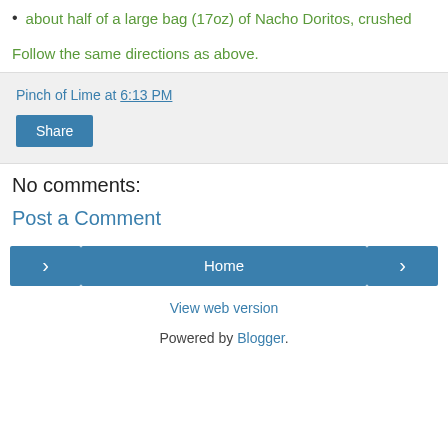about half of a large bag (17oz) of Nacho Doritos, crushed
Follow the same directions as above.
Pinch of Lime at 6:13 PM
Share
No comments:
Post a Comment
< | Home | >
View web version
Powered by Blogger.